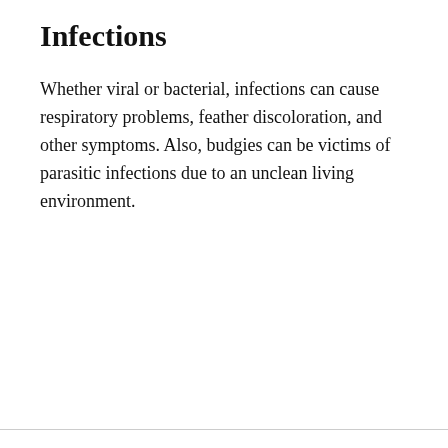Infections
Whether viral or bacterial, infections can cause respiratory problems, feather discoloration, and other symptoms. Also, budgies can be victims of parasitic infections due to an unclean living environment.